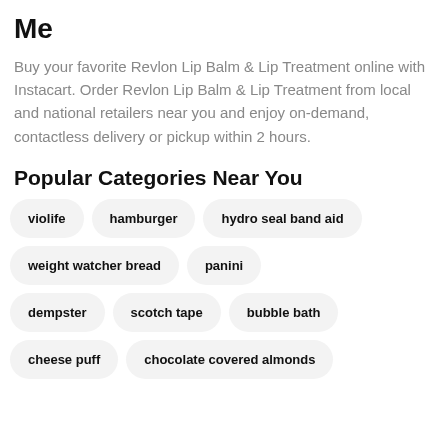Me
Buy your favorite Revlon Lip Balm & Lip Treatment online with Instacart. Order Revlon Lip Balm & Lip Treatment from local and national retailers near you and enjoy on-demand, contactless delivery or pickup within 2 hours.
Popular Categories Near You
violife
hamburger
hydro seal band aid
weight watcher bread
panini
dempster
scotch tape
bubble bath
cheese puff
chocolate covered almonds